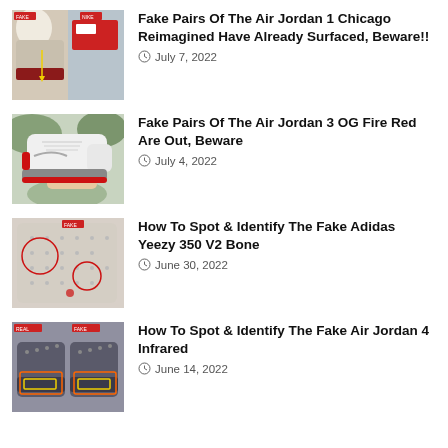[Figure (photo): Comparison of fake vs real Air Jordan 1 Chicago Reimagined sneakers with yellow annotation arrows]
Fake Pairs Of The Air Jordan 1 Chicago Reimagined Have Already Surfaced, Beware!!
July 7, 2022
[Figure (photo): Air Jordan 3 OG Fire Red sneaker held in hand, white/grey/red colorway]
Fake Pairs Of The Air Jordan 3 OG Fire Red Are Out, Beware
July 4, 2022
[Figure (photo): Sole of Adidas Yeezy 350 V2 Bone with red circle annotations highlighting fake indicators]
How To Spot & Identify The Fake Adidas Yeezy 350 V2 Bone
June 30, 2022
[Figure (photo): Air Jordan 4 Infrared sneaker with orange and yellow box annotations on sole]
How To Spot & Identify The Fake Air Jordan 4 Infrared
June 14, 2022